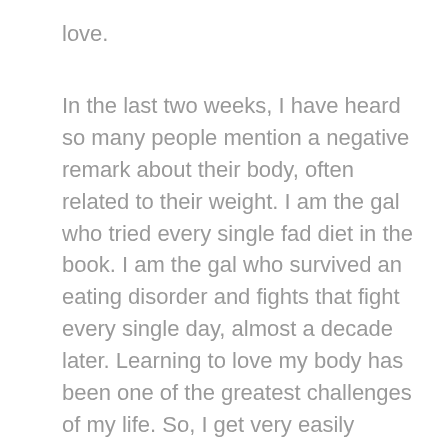love.
In the last two weeks, I have heard so many people mention a negative remark about their body, often related to their weight. I am the gal who tried every single fad diet in the book. I am the gal who survived an eating disorder and fights that fight every single day, almost a decade later. Learning to love my body has been one of the greatest challenges of my life. So, I get very easily triggered by these remarks.